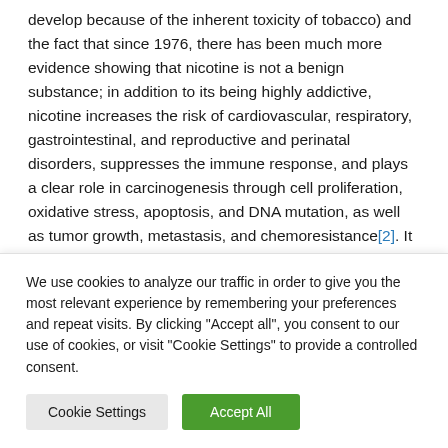develop because of the inherent toxicity of tobacco) and the fact that since 1976, there has been much more evidence showing that nicotine is not a benign substance; in addition to its being highly addictive, nicotine increases the risk of cardiovascular, respiratory, gastrointestinal, and reproductive and perinatal disorders, suppresses the immune response, and plays a clear role in carcinogenesis through cell proliferation, oxidative stress, apoptosis, and DNA mutation, as well as tumor growth, metastasis, and chemoresistance[2]. It has also been shown to impair adolescent brain maturation
We use cookies to analyze our traffic in order to give you the most relevant experience by remembering your preferences and repeat visits. By clicking "Accept all", you consent to our use of cookies, or visit "Cookie Settings" to provide a controlled consent.
Cookie Settings | Accept All